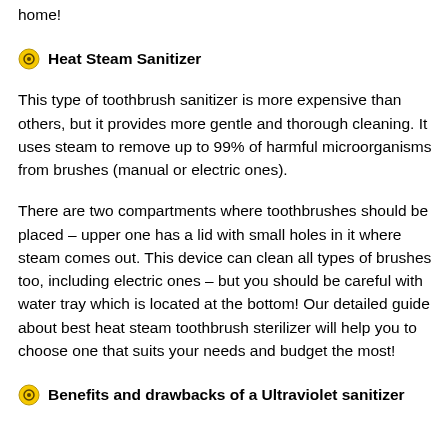home!
Heat Steam Sanitizer
This type of toothbrush sanitizer is more expensive than others, but it provides more gentle and thorough cleaning. It uses steam to remove up to 99% of harmful microorganisms from brushes (manual or electric ones).
There are two compartments where toothbrushes should be placed – upper one has a lid with small holes in it where steam comes out. This device can clean all types of brushes too, including electric ones – but you should be careful with water tray which is located at the bottom! Our detailed guide about best heat steam toothbrush sterilizer will help you to choose one that suits your needs and budget the most!
Benefits and drawbacks of a Ultraviolet sanitizer